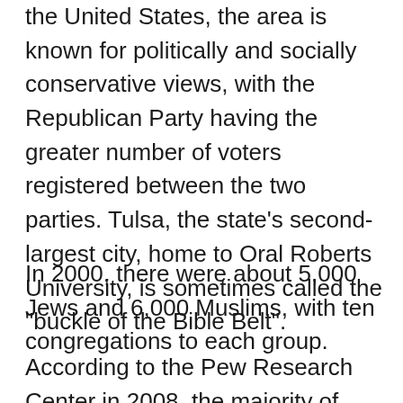the United States, the area is known for politically and socially conservative views, with the Republican Party having the greater number of voters registered between the two parties. Tulsa, the state's second-largest city, home to Oral Roberts University, is sometimes called the "buckle of the Bible Belt".
In 2000, there were about 5,000 Jews and 6,000 Muslims, with ten congregations to each group.
According to the Pew Research Center in 2008, the majority of Oklahoma's religious